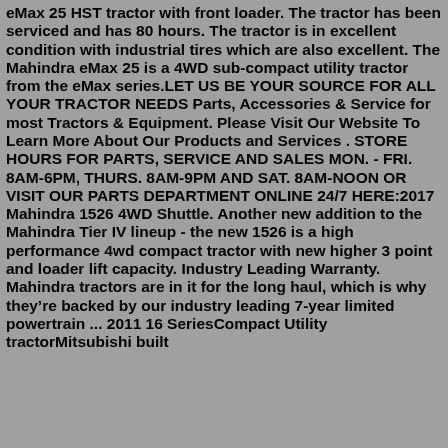eMax 25 HST tractor with front loader. The tractor has been serviced and has 80 hours. The tractor is in excellent condition with industrial tires which are also excellent. The Mahindra eMax 25 is a 4WD sub-compact utility tractor from the eMax series.LET US BE YOUR SOURCE FOR ALL YOUR TRACTOR NEEDS Parts, Accessories & Service for most Tractors & Equipment. Please Visit Our Website To Learn More About Our Products and Services . STORE HOURS FOR PARTS, SERVICE AND SALES MON. - FRI. 8AM-6PM, THURS. 8AM-9PM AND SAT. 8AM-NOON OR VISIT OUR PARTS DEPARTMENT ONLINE 24/7 HERE:2017 Mahindra 1526 4WD Shuttle. Another new addition to the Mahindra Tier IV lineup - the new 1526 is a high performance 4wd compact tractor with new higher 3 point and loader lift capacity. Industry Leading Warranty. Mahindra tractors are in it for the long haul, which is why they’re backed by our industry leading 7-year limited powertrain ... 2011 16 SeriesCompact Utility tractorMitsubishi built